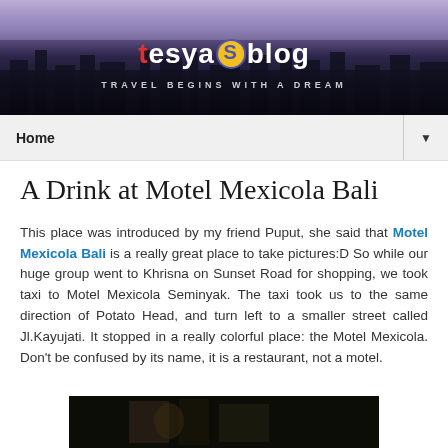[Figure (photo): City skyline at dusk with purple/blue sky forming the header banner of the Tesyas Blog travel website]
tesyas blog — TRAVEL BEGINS WITH A DREAM
Home ▼
A Drink at Motel Mexicola Bali
This place was introduced by my friend Puput, she said that Motel Mexicola Bali is a really great place to take pictures:D So while our huge group went to Khrisna on Sunset Road for shopping, we took taxi to Motel Mexicola Seminyak. The taxi took us to the same direction of Potato Head, and turn left to a smaller street called Jl.Kayujati. It stopped in a really colorful place: the Motel Mexicola. Don't be confused by its name, it is a restaurant, not a motel.
[Figure (photo): Dark photograph of Motel Mexicola interior/exterior, partially visible at the bottom of the page]